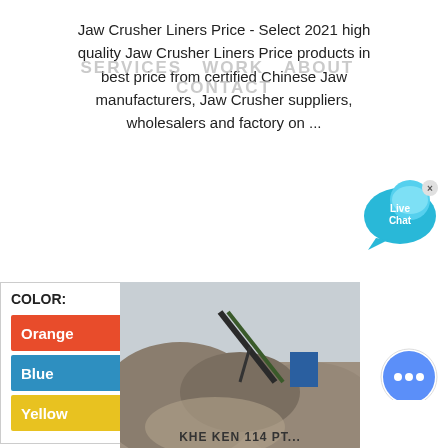Jaw Crusher Liners Price - Select 2021 high quality Jaw Crusher Liners Price products in best price from certified Chinese Jaw manufacturers, Jaw Crusher suppliers, wholesalers and factory on ...
SERVICES  WORK  ABOUT  CONTACT
[Figure (other): Live Chat speech bubble icon in teal/cyan color with 'Live Chat' text and a close X button]
COLOR:
Orange
Blue
Yellow
[Figure (photo): Photograph of a jaw crusher operation site with large mounds of crushed stone/gravel and a conveyor belt structure against a light sky]
KHE KEN 114 PT...
[Figure (other): Blue circular chat widget button with three dots]